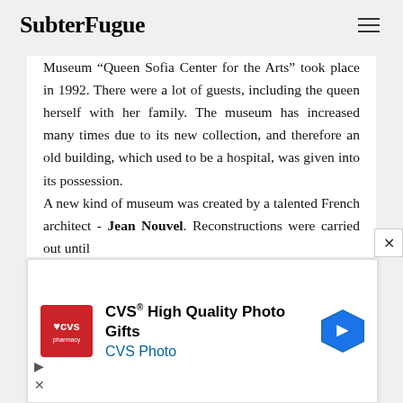SubterFugue
Museum “Queen Sofia Center for the Arts” took place in 1992. There were a lot of guests, including the queen herself with her family. The museum has increased many times due to its new collection, and therefore an old building, which used to be a hospital, was given into its possession.

A new kind of museum was created by a talented French architect - Jean Nouvel. Reconstructions were carried out until
[Figure (other): CVS Pharmacy advertisement banner: CVS High Quality Photo Gifts, CVS Photo, with CVS logo and navigation icon]